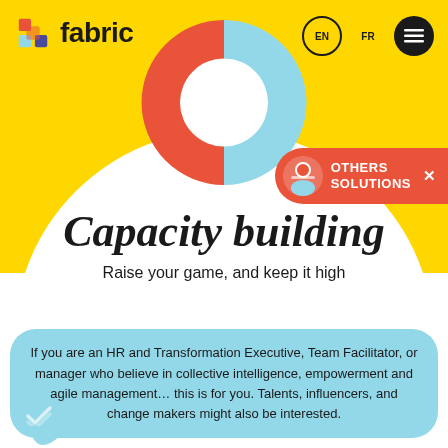[Figure (logo): Fabric logo with colorful X icon and wordmark 'fabric']
[Figure (donut-chart): Half red-orange, half light blue donut chart with white center hole]
[Figure (infographic): Others Solutions badge in red-orange with avatar icon and X close button]
Capacity building
Raise your game, and keep it high
If you are an HR and Transformation Executive, Team Facilitator, or manager who believe in collective intelligence, empowerment and agile management... this is for you. Talents, influencers, and change makers might also be interested.